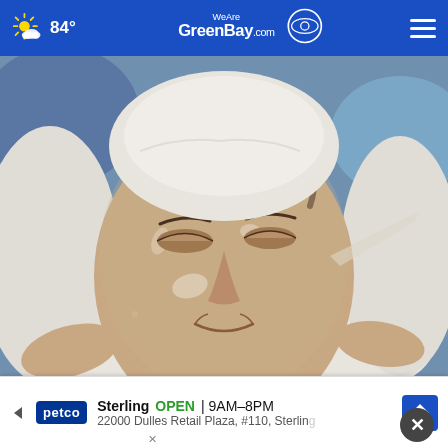84° WeAreGreenBay.com
[Figure (photo): Woman lying down with a clear sheet face mask being applied, wrapped in a white towel]
Top Plastic Surgeon: if You Have Wrinkles, Do This Before Bed!
Extre...
[Figure (screenshot): Petco advertisement banner: Sterling OPEN 9AM-8PM, 22000 Dulles Retail Plaza, #110, Sterling]